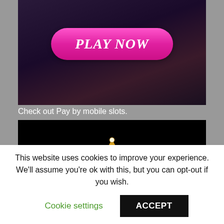[Figure (screenshot): Casino game screenshot with a pink 'PLAY NOW' button on a dark background]
Check out Pay by mobile slots.
[Figure (logo): King Casino logo: gold crown above white italic 'King' text with red 'CASINO' below, on black background]
This website uses cookies to improve your experience. We'll assume you're ok with this, but you can opt-out if you wish.
Cookie settings
ACCEPT